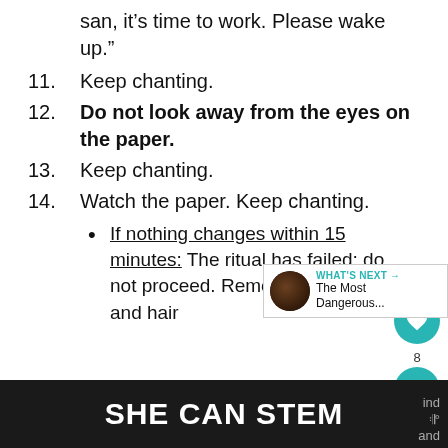san, it’s time to work. Please wake up.”
11. Keep chanting.
12. Do not look away from the eyes on the paper.
13. Keep chanting.
14. Watch the paper. Keep chanting.
• If nothing changes within 15 minutes: The ritual has failed; do not proceed. Remove the paper and hair